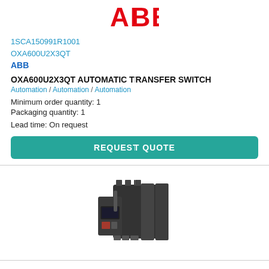[Figure (logo): ABB logo in red at the top of the page]
1SCA150991R1001
OXA600U2X3QT
ABB
OXA600U2X3QT AUTOMATIC TRANSFER SWITCH
Automation / Automation / Automation
Minimum order quantity: 1
Packaging quantity: 1
Lead time: On request
REQUEST QUOTE
[Figure (photo): Photo of OXA600U2X3QT Automatic Transfer Switch device, a dark grey industrial electrical unit]
[Figure (logo): ABB logo in red at the bottom of the page]